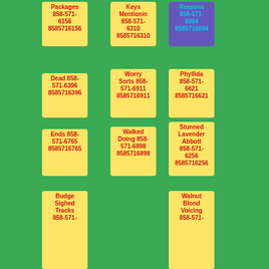Packages 858-571-6156 8585716156
Keys Mentioning 858-571-6310 8585716310
Reasons 858-571-6094 8585716094
Dead 858-571-6396 8585716396
Worry Sorts 858-571-6911 8585716911
Phyllida 858-571-6621 8585716621
Ends 858-571-6765 8585716765
Walked Doing 858-571-6898 8585716898
Stunned Lavender Abbott 858-571-6256 8585716256
Budge Sighed Tracks 858-571-...
Walnut Blond Voicing 858-571-...